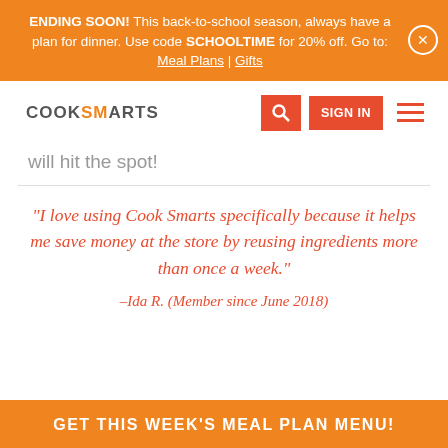ENDING SOON! This back-to-school season, always have a plan for dinner. Use code SCHOOLTIME for 20% off. Go to: Meal Plans | Gifts
[Figure (logo): CookSmarts logo with navigation bar including search button, SIGN IN button, and hamburger menu]
will hit the spot!
“I love using Cook Smarts specifically because it helps me save money at the store by reusing ingredients more than once a week.” –Ida R. (Member since June 2018)
GET THIS WEEK’S MEAL PLAN MENU!